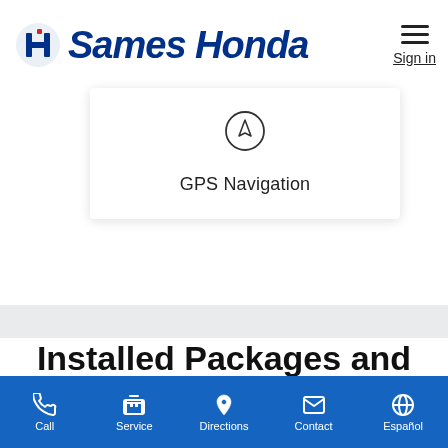[Figure (logo): Honda logo and Sames Honda dealership branding with hamburger menu and Sign in link]
[Figure (infographic): Dropdown card showing GPS Navigation icon (compass/arrow circle) with label 'GPS Navigation']
Installed Packages and Options
[Figure (infographic): Bottom navigation bar with icons for Call, Service, Directions, Contact, Español on blue background]